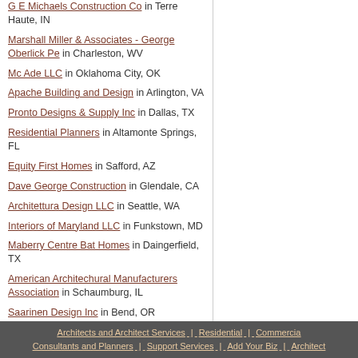G E Michaels Construction Co in Terre Haute, IN
Marshall Miller & Associates - George Oberlick Pe in Charleston, WV
Mc Ade LLC in Oklahoma City, OK
Apache Building and Design in Arlington, VA
Pronto Designs & Supply Inc in Dallas, TX
Residential Planners in Altamonte Springs, FL
Equity First Homes in Safford, AZ
Dave George Construction in Glendale, CA
Architettura Design LLC in Seattle, WA
Interiors of Maryland LLC in Funkstown, MD
Maberry Centre Bat Homes in Daingerfield, TX
American Architechural Manufacturers Association in Schaumburg, IL
Saarinen Design Inc in Bend, OR
Dang LA Architecture in Houston, TX
Architects and Architect Services | Residential | Commercial | Consultants and Planners | Support Services | Add Your Biz | Architect